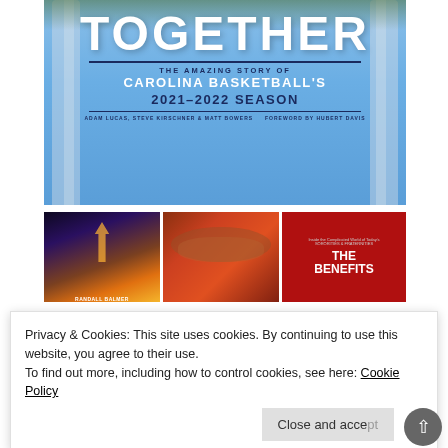[Figure (illustration): Book cover for 'Together: The Amazing Story of Carolina Basketball's 2021-2022 Season' by Adam Lucas, Steve Kirschner & Matt Bowers. Blue cover with white columns in background and bold white/navy text.]
[Figure (photo): Three book thumbnail images side by side: a concert crowd with raised fist silhouette (Randall Balmer), a sports/bowling image in red tones, and a red cover showing 'The Benefits' with sororities & fraternities theme.]
Privacy & Cookies: This site uses cookies. By continuing to use this website, you agree to their use.
To find out more, including how to control cookies, see here: Cookie Policy
Close and accept
[Figure (photo): Partial bottom strip showing 'EQUALITY' text in blue bold letters on a light background.]